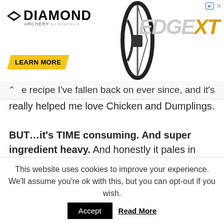[Figure (photo): Diamond Archery Edge XT advertisement banner with yellow 'LEARN MORE' button, bow silhouette image, and large grey italic EDGEXT text]
e recipe I've fallen back on ever since, and it's really helped me love Chicken and Dumplings.
BUT…it's TIME consuming. And super ingredient heavy. And honestly it pales in comparison to the Chicken and Dumplings recipe I'm about to post! (but it's still really good and probably a bit healthier than the version I am
This website uses cookies to improve your experience. We'll assume you're ok with this, but you can opt-out if you wish. Accept Read More